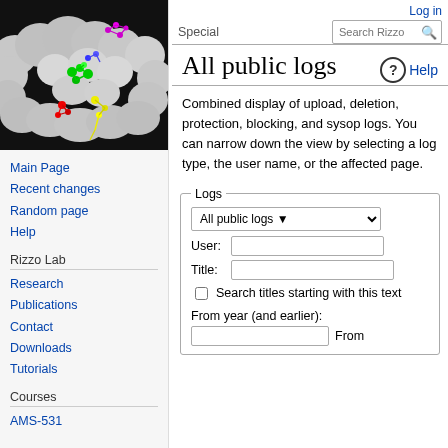[Figure (illustration): 3D molecular visualization showing protein surface (gray blobs) with colorful ligand molecules (green, red, yellow, blue, magenta) docked in the binding site, on a black background.]
Main Page
Recent changes
Random page
Help
Rizzo Lab
Research
Publications
Contact
Downloads
Tutorials
Courses
AMS-531
Log in
All public logs
Combined display of upload, deletion, protection, blocking, and sysop logs. You can narrow down the view by selecting a log type, the user name, or the affected page.